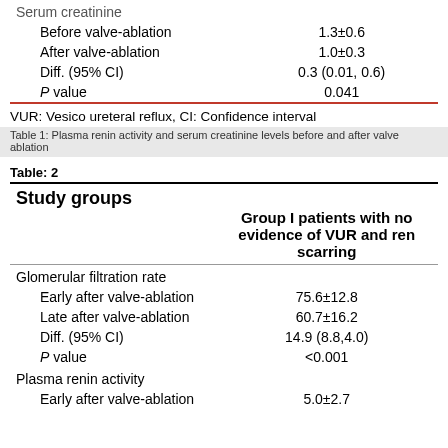|  | Value |
| --- | --- |
| Before valve-ablation | 1.3±0.6 |
| After valve-ablation | 1.0±0.3 |
| Diff. (95% CI) | 0.3 (0.01, 0.6) |
| P value | 0.041 |
VUR: Vesico ureteral reflux, CI: Confidence interval
Table 1: Plasma renin activity and serum creatinine levels before and after valve ablation
Table: 2
| Study groups | Group I patients with no evidence of VUR and renal scarring |
| --- | --- |
| Glomerular filtration rate |  |
| Early after valve-ablation | 75.6±12.8 |
| Late after valve-ablation | 60.7±16.2 |
| Diff. (95% CI) | 14.9 (8.8,4.0) |
| P value | <0.001 |
| Plasma renin activity |  |
| Early after valve-ablation | 5.0±2.7 |